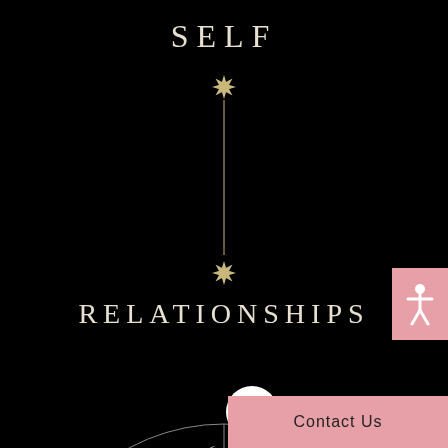SELF
[Figure (infographic): Gold eight-pointed star at top, connected by a vertical gold line to a second gold eight-pointed star below, representing the connection between SELF and RELATIONSHIPS]
RELATIONSHIPS
[Figure (other): Partial wheel/pie chart at bottom showing segments labeled: IDENTITY, CONNECTION TO SELF, FINANCIAL SUCCESS, and partial segment on right]
[Figure (other): Pink accessibility icon button in upper right corner]
Contact Us
[Figure (other): White circular chat bubble button]